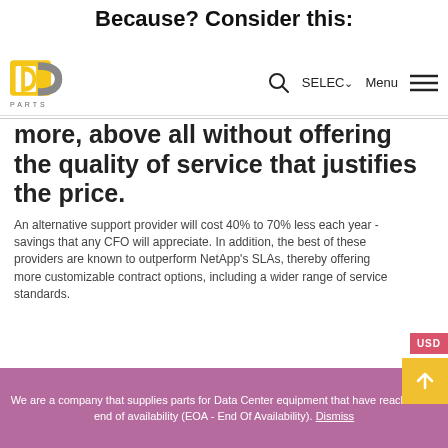Because? Consider this:
[Figure (logo): DC Parts logo - yellow and grey stylized DC letters with PARTS text below]
more, above all without offering the quality of service that justifies the price.
An alternative support provider will cost 40% to 70% less each year - savings that any CFO will appreciate. In addition, the best of these providers are known to outperform NetApp's SLAs, thereby offering more customizable contract options, including a wider range of service standards.
We are a company that supplies parts for Data Center equipment that have reached the end of availability (EOA - End Of Availability). Dismiss